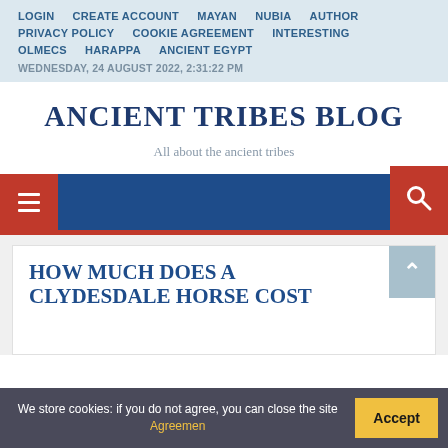LOGIN  CREATE ACCOUNT  MAYAN  NUBIA  AUTHOR  PRIVACY POLICY  COOKIE AGREEMENT  INTERESTING  OLMECS  HARAPPA  ANCIENT EGYPT  WEDNESDAY, 24 AUGUST 2022, 2:31:22 PM
ANCIENT TRIBES BLOG
All about the ancient tribes
[Figure (screenshot): Blue navigation bar with red hamburger menu button on the left and red search button on the right with a magnifying glass icon]
HOW MUCH DOES A CLYDESDALE HORSE COST
We store cookies: if you do not agree, you can close the site Agreemen  Accept